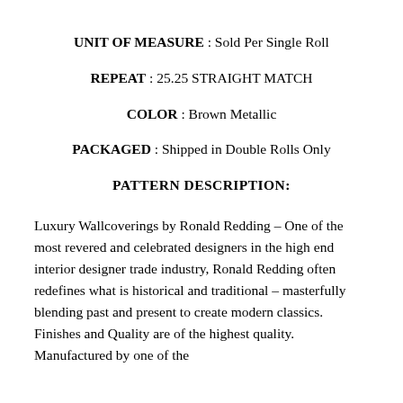UNIT OF MEASURE : Sold Per Single Roll
REPEAT : 25.25 STRAIGHT MATCH
COLOR : Brown Metallic
PACKAGED : Shipped in Double Rolls Only
PATTERN DESCRIPTION:
Luxury Wallcoverings by Ronald Redding – One of the most revered and celebrated designers in the high end interior designer trade industry, Ronald Redding often redefines what is historical and traditional – masterfully blending past and present to create modern classics. Finishes and Quality are of the highest quality. Manufactured by one of the